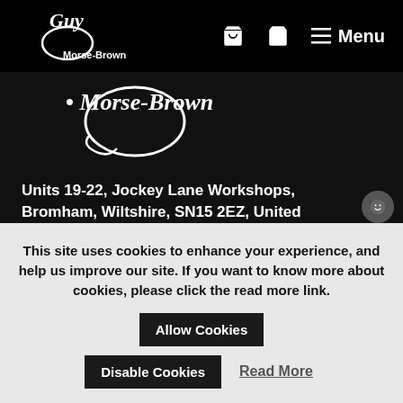Guy Morse-Brown — Menu
[Figure (logo): Guy Morse-Brown cursive logo watermark in white on dark background]
Units 19-22, Jockey Lane Workshops, Bromham, Wiltshire, SN15 2EZ, United Kingdom
Tel: +44 (0)1380 859756
Email: mail@hatblocks.co.uk
[Figure (other): Facebook and Twitter social media icon circles]
This site uses cookies to enhance your experience, and help us improve our site. If you want to know more about cookies, please click the read more link.
Allow Cookies
Disable Cookies
Read More